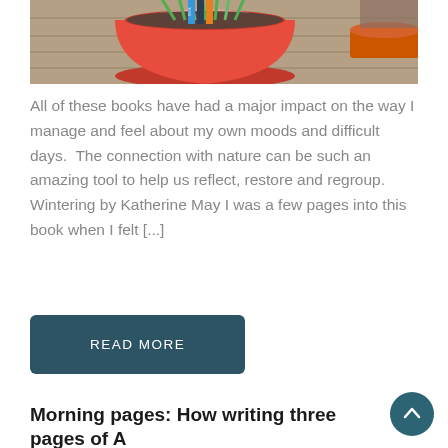[Figure (photo): A red bucket/planter containing green plant shoots (daffodils) and several upright books with spines visible, sitting on a wooden surface outdoors. Other pots visible in background.]
All of these books have had a major impact on the way I manage and feel about my own moods and difficult days.  The connection with nature can be such an amazing tool to help us reflect, restore and regroup.  Wintering by Katherine May I was a few pages into this book when I felt [...]
READ MORE
Morning pages: How writing three pages of A each morning can unjumble your brain